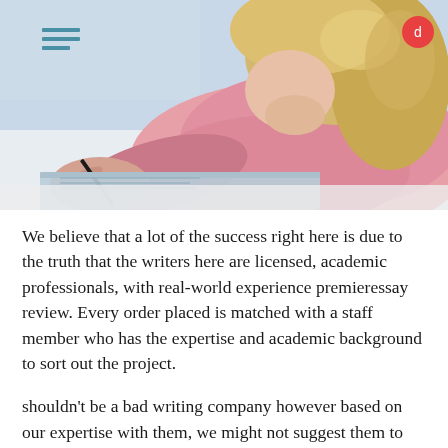[Figure (photo): A young woman with blonde hair wearing a pink striped sweater, writing in a notebook with a pen, lying down. The image is a close-up shot with a light background.]
We believe that a lot of the success right here is due to the truth that the writers here are licensed, academic professionals, with real-world experience premieressay review. Every order placed is matched with a staff member who has the expertise and academic background to sort out the project.
shouldn’t be a bad writing company however based on our expertise with them, we might not suggest them to college students chasing excessive grades. besides